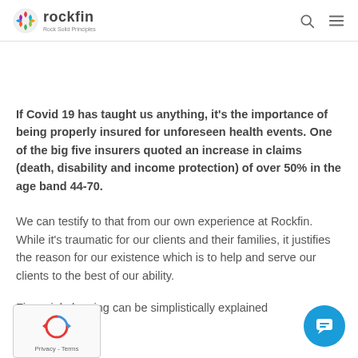rockfin
If Covid 19 has taught us anything, it's the importance of being properly insured for unforeseen health events. One of the big five insurers quoted an increase in claims (death, disability and income protection) of over 50% in the age band 44-70.
We can testify to that from our own experience at Rockfin. While it's traumatic for our clients and their families, it justifies the reason for our existence which is to help and serve our clients to the best of our ability.
Financial planning can be simplistically explained